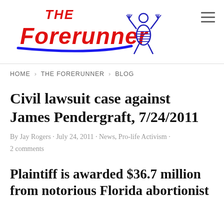[Figure (logo): The Forerunner logo with red stylized text and blue figure/person graphic, with hamburger menu icon]
HOME > THE FORERUNNER > BLOG
Civil lawsuit case against James Pendergraft, 7/24/2011
By Jay Rogers · July 24, 2011 · News, Pro-life Activism · 2 comments
Plaintiff is awarded $36.7 million from notorious Florida abortionist